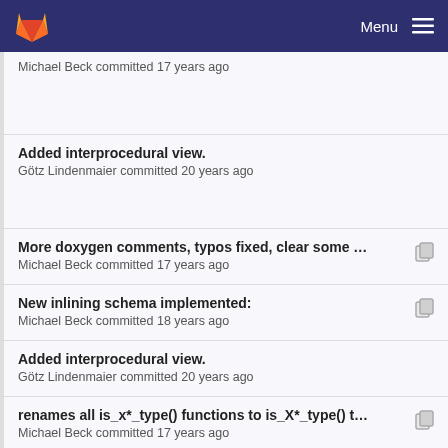Menu
Michael Beck committed 17 years ago
Added interprocedural view.
Götz Lindenmaier committed 20 years ago
More doxygen comments, typos fixed, clear some ...
Michael Beck committed 17 years ago
New inlining schema implemented:
Michael Beck committed 18 years ago
Added interprocedural view.
Götz Lindenmaier committed 20 years ago
renames all is_x*_type() functions to is_X*_type() t...
Michael Beck committed 17 years ago
Imprint